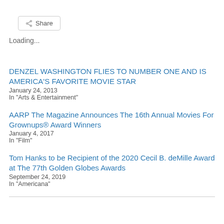Share
Loading...
DENZEL WASHINGTON FLIES TO NUMBER ONE AND IS AMERICA'S FAVORITE MOVIE STAR
January 24, 2013
In "Arts & Entertainment"
AARP The Magazine Announces The 16th Annual Movies For Grownups® Award Winners
January 4, 2017
In "Film"
Tom Hanks to be Recipient of the 2020 Cecil B. deMille Award at The 77th Golden Globes Awards
September 24, 2019
In "Americana"